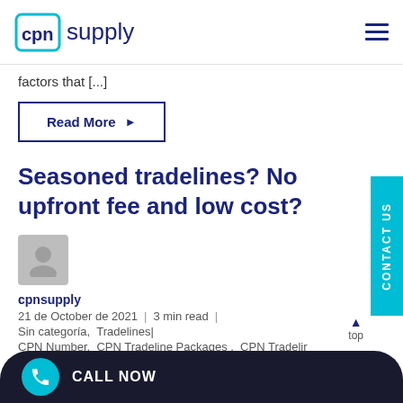cpn supply
factors that [...]
Read More ▶
Seasoned tradelines? No upfront fee and low cost?
cpnsupply
21 de October de 2021 | 3 min read |
Sin categoría, Tradelines |
CPN Number, CPN Tradeline Packages, CPN Tradeline credit score, Tradelines
CALL NOW